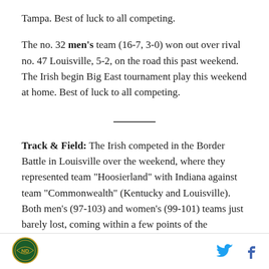Tampa. Best of luck to all competing.
The no. 32 men's team (16-7, 3-0) won out over rival no. 47 Louisville, 5-2, on the road this past weekend. The Irish begin Big East tournament play this weekend at home. Best of luck to all competing.
Track & Field: The Irish competed in the Border Battle in Louisville over the weekend, where they represented team "Hoosierland" with Indiana against team "Commonwealth" (Kentucky and Louisville). Both men's (97-103) and women's (99-101) teams just barely lost, coming within a few points of the
[Figure (logo): Notre Dame athletics logo — circular green and gold emblem]